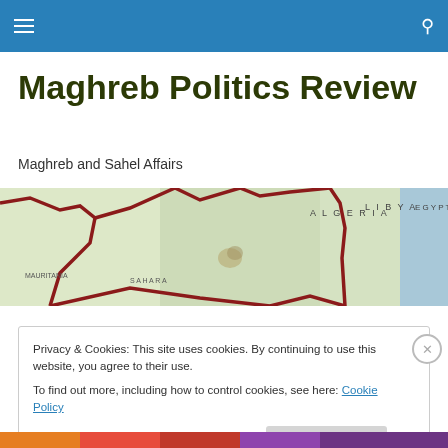Maghreb Politics Review — navigation bar
Maghreb Politics Review
Maghreb and Sahel Affairs
[Figure (map): A vintage political map of North Africa showing Algeria, Libya, Egypt, Mauritania and Sahel region with red border lines]
Privacy & Cookies: This site uses cookies. By continuing to use this website, you agree to their use.
To find out more, including how to control cookies, see here: Cookie Policy
Close and accept